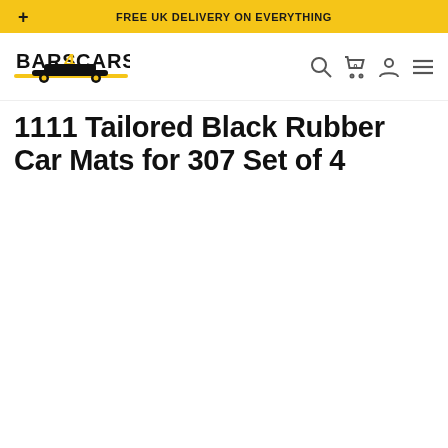FREE UK DELIVERY ON EVERYTHING
[Figure (logo): Bars4Cars logo — stylized bold text with a car underline graphic, black and yellow]
1111 Tailored Black Rubber Car Mats for 307 Set of 4